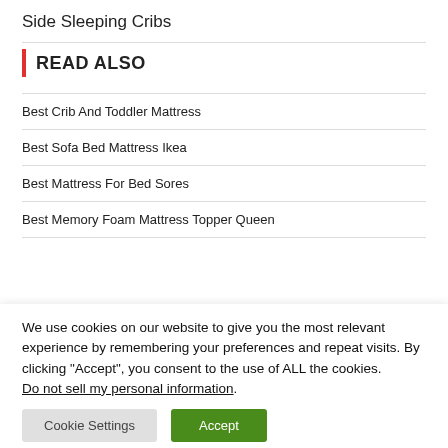Side Sleeping Cribs
READ ALSO
Best Crib And Toddler Mattress
Best Sofa Bed Mattress Ikea
Best Mattress For Bed Sores
Best Memory Foam Mattress Topper Queen
We use cookies on our website to give you the most relevant experience by remembering your preferences and repeat visits. By clicking “Accept”, you consent to the use of ALL the cookies. Do not sell my personal information.